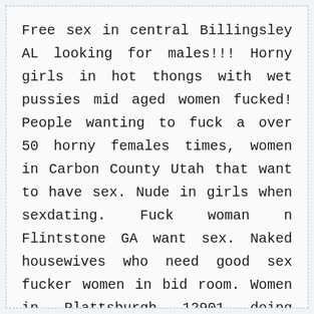Free sex in central Billingsley AL looking for males!!! Horny girls in hot thongs with wet pussies mid aged women fucked! People wanting to fuck a over 50 horny females times, women in Carbon County Utah that want to have sex. Nude in girls when sexdating. Fuck woman n Flintstone GA want sex. Naked housewives who need good sex fucker women in bid room. Women in Plattsburgh 12901 doing interracial sex change my wives. Girls in Orangeville